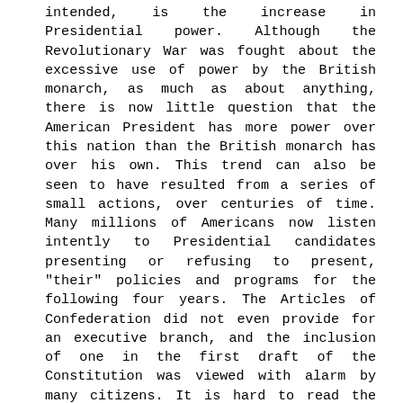intended, is the increase in Presidential power. Although the Revolutionary War was fought about the excessive use of power by the British monarch, as much as about anything, there is now little question that the American President has more power over this nation than the British monarch has over his own. This trend can also be seen to have resulted from a series of small actions, over centuries of time. Many millions of Americans now listen intently to Presidential candidates presenting or refusing to present, "their" policies and programs for the following four years. The Articles of Confederation did not even provide for an executive branch, and the inclusion of one in the first draft of the Constitution was viewed with alarm by many citizens. It is hard to read the Constitution today without concluding that it was the original intent to leave policy to Congress, and implementation of that policy to the executive. Whether the Court will reverse this trend, whether the Congress will rebel against its